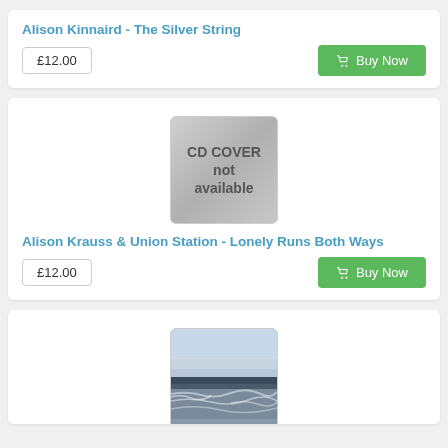Alison Kinnaird - The Silver String
£12.00
Buy Now
[Figure (other): CD cover placeholder showing 'CD COVER not available' text on grey gradient background]
Alison Krauss & Union Station - Lonely Runs Both Ways
£12.00
Buy Now
[Figure (photo): Ocean/seascape photo showing waves and sky]